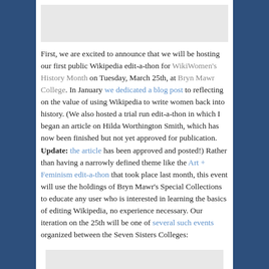[Figure (photo): Gray placeholder image at top of content area]
First, we are excited to announce that we will be hosting our first public Wikipedia edit-a-thon for WikiWomen's History Month on Tuesday, March 25th, at Bryn Mawr College. In January we dedicated a blog post to reflecting on the value of using Wikipedia to write women back into history. (We also hosted a trial run edit-a-thon in which I began an article on Hilda Worthington Smith, which has now been finished but not yet approved for publication. Update: the article has been approved and posted!) Rather than having a narrowly defined theme like the Art + Feminism edit-a-thon that took place last month, this event will use the holdings of Bryn Mawr's Special Collections to educate any user who is interested in learning the basics of editing Wikipedia, no experience necessary. Our iteration on the 25th will be one of several such events organized between the Seven Sisters Colleges:
[Figure (photo): Gray placeholder image at bottom of content area]